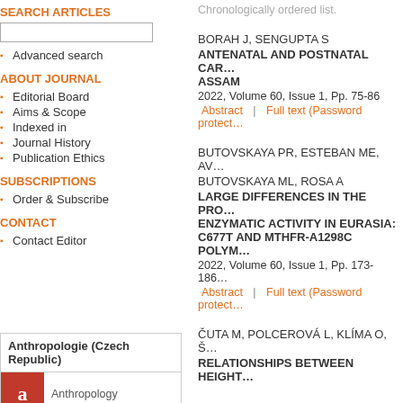Chronologically ordered list.
SEARCH ARTICLES
Advanced search
ABOUT JOURNAL
Editorial Board
Aims & Scope
Indexed in
Journal History
Publication Ethics
SUBSCRIPTIONS
Order & Subscribe
CONTACT
Contact Editor
Anthropologie (Czech Republic)
Anthropology
BORAH J, SENGUPTA S
ANTENATAL AND POSTNATAL CAR… ASSAM
2022, Volume 60, Issue 1, Pp. 75-86
Abstract | Full text (Password protect…
BUTOVSKAYA PR, ESTEBAN ME, AV… BUTOVSKAYA ML, ROSA A
LARGE DIFFERENCES IN THE PRO… ENZYMATIC ACTIVITY IN EURASIA: C677T AND MTHFR-A1298C POLYM…
2022, Volume 60, Issue 1, Pp. 173-186…
Abstract | Full text (Password protect…
ČUTA M, POLCEROVÁ L, KLÍMA O, Š…
RELATIONSHIPS BETWEEN HEIGHT…